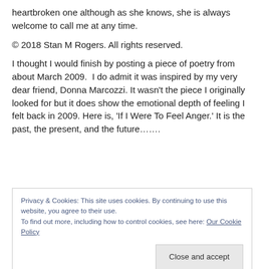heartbroken one although as she knows, she is always welcome to call me at any time.
© 2018 Stan M Rogers. All rights reserved.
I thought I would finish by posting a piece of poetry from about March 2009.  I do admit it was inspired by my very dear friend, Donna Marcozzi. It wasn’t the piece I originally looked for but it does show the emotional depth of feeling I felt back in 2009. Here is, ‘If I Were To Feel Anger.’ It is the past, the present, and the future…….
Privacy & Cookies: This site uses cookies. By continuing to use this website, you agree to their use.
To find out more, including how to control cookies, see here: Our Cookie Policy
Close and accept